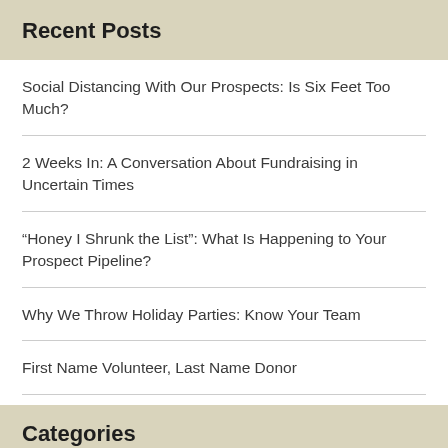Recent Posts
Social Distancing With Our Prospects: Is Six Feet Too Much?
2 Weeks In: A Conversation About Fundraising in Uncertain Times
“Honey I Shrunk the List”: What Is Happening to Your Prospect Pipeline?
Why We Throw Holiday Parties: Know Your Team
First Name Volunteer, Last Name Donor
Categories